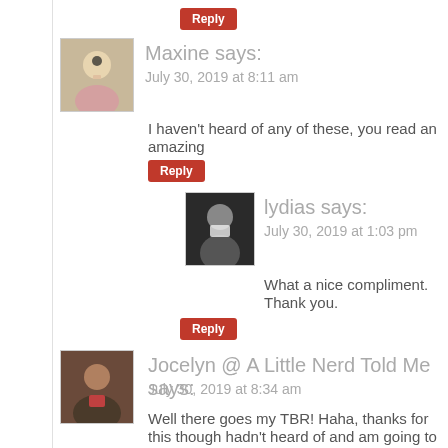Reply
Maxine says:
July 30, 2019 at 8:11 am
I haven't heard of any of these, you read an amazing
Reply
lydias says:
July 30, 2019 at 1:03 pm
What a nice compliment. Thank you.
Reply
Jocelyn @ A Little Nerd Told Me says:
July 30, 2019 at 8:34 am
Well there goes my TBR! Haha, thanks for this though hadn't heard of and am going to try to read now, esp for Young People!
Reply
lydias says: